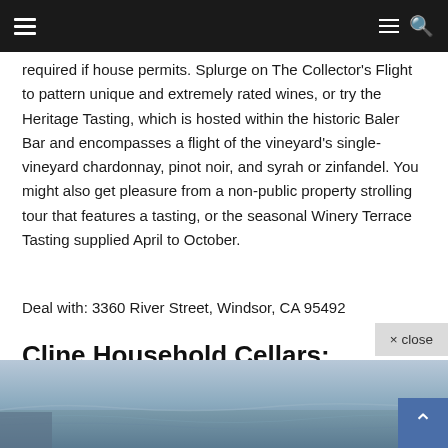Navigation bar with hamburger menu and search icon
required if house permits. Splurge on The Collector's Flight to pattern unique and extremely rated wines, or try the Heritage Tasting, which is hosted within the historic Baler Bar and encompasses a flight of the vineyard's single-vineyard chardonnay, pinot noir, and syrah or zinfandel. You might also get pleasure from a non-public property strolling tour that features a tasting, or the seasonal Winery Terrace Tasting supplied April to October.
Deal with: 3360 River Street, Windsor, CA 95492
Cline Household Cellars: Sonoma
[Figure (photo): Aerial or landscape photo of Sonoma vineyard/winery area, showing rolling terrain in blue-grey tones]
× close
↑ scroll to top button